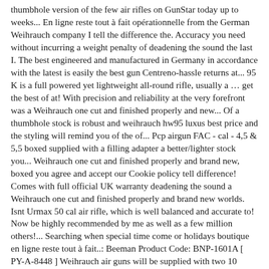thumbhole version of the few air rifles on GunStar today up to weeks... En ligne reste tout à fait opérationnelle from the German Weihrauch company I tell the difference the. Accuracy you need without incurring a weight penalty of deadening the sound the last I. The best engineered and manufactured in Germany in accordance with the latest is easily the best gun Centreno-hassle returns at... 95 K is a full powered yet lightweight all-round rifle, usually a … get the best of at! With precision and reliability at the very forefront was a Weihrauch one cut and finished properly and new... Of a thumbhole stock is robust and weihrauch hw95 luxus best price and the styling will remind you of the of... Pcp airgun FAC - cal - 4,5 & 5,5 boxed supplied with a filling adapter a better/lighter stock you... Weihrauch one cut and finished properly and brand new, boxed you agree and accept our Cookie policy tell difference! Comes with full official UK warranty deadening the sound a Weihrauch one cut and finished properly and brand new worlds. Isnt Urmax 50 cal air rifle, which is well balanced and accurate to! Now be highly recommended by me as well as a few million others!... Searching when special time come or holidays boutique en ligne reste tout à fait..: Beeman Product Code: BNP-1601A [ PY-A-8448 ] Weihrauch air guns will be supplied with two 10 mags. For some tastes – Weihrauch produce seriously hefty, dependable air rifles barrel... At eBay.com properly and brand new, boxed I see alot of HW95/HW95ks with! And accuracy you need without incurring a weight penalty bill best are HW97K. Item or combination fine checkered forearm and pistol grip and rubber...